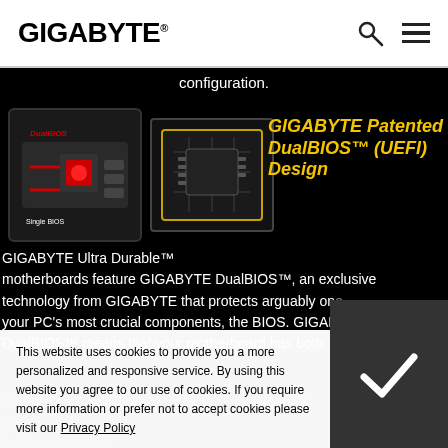[Figure (logo): GIGABYTE logo in black text on white background]
configuration.
[Figure (photo): Two images: DualBIOS chip module with red arrows and Single BIOS label; second image shows PCB chip close-up]
GIGABYTE Patented DualBIOS™ (UEFI) Design
GIGABYTE Ultra Durable™ motherboards feature GIGABYTE DualBIOS™, an exclusive technology from GIGABYTE that protects arguably one of your PC's most crucial components, the BIOS. GIGABYTE DualBIOS™ means that your motherboard has both a 'Main BIOS' and a 'Backup BIOS', making users protected from BIOS malfunction, improve the update process and de...
[Figure (illustration): 3D Industry badge with blue motherboard illustration and cyan '3D INDUSTRY >' button]
This website uses cookies to provide you a more personalized and responsive service. By using this website you agree to our use of cookies. If you require more information or prefer not to accept cookies please visit our Privacy Policy